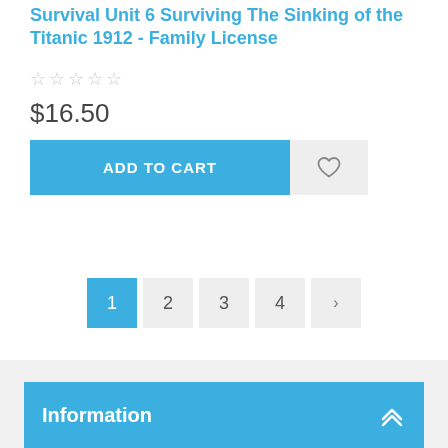Survival Unit 6 Surviving The Sinking of the Titanic 1912 - Family License
☆☆☆☆☆
$16.50
ADD TO CART
1 2 3 4 >
Information